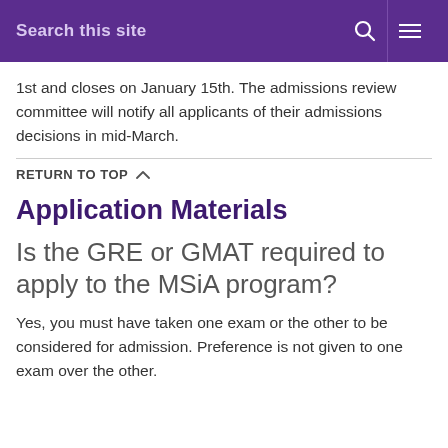Search this site
1st and closes on January 15th. The admissions review committee will notify all applicants of their admissions decisions in mid-March.
RETURN TO TOP
Application Materials
Is the GRE or GMAT required to apply to the MSiA program?
Yes, you must have taken one exam or the other to be considered for admission. Preference is not given to one exam over the other.